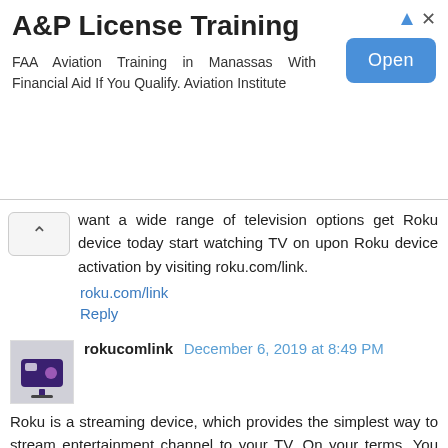[Figure (other): Advertisement banner for A&P License Training. Title: A&P License Training. Body: FAA Aviation Training in Manassas With Financial Aid If You Qualify. Aviation Institute. Button: Open]
want a wide range of television options get Roku device today start watching TV on upon Roku device activation by visiting roku.com/link.
roku.com/link
Reply
rokucomlink December 6, 2019 at 8:49 PM
Roku is a streaming device, which provides the simplest way to stream entertainment channel to your TV. On your terms. You can access more than 500000+ movies and TV episodes across free and pay on Roku. Also, you will get the best quality video streaming with it. You can watch shows, movies, an entertainment channel, web series, etc. For the activation of the Roku device Go to URL: